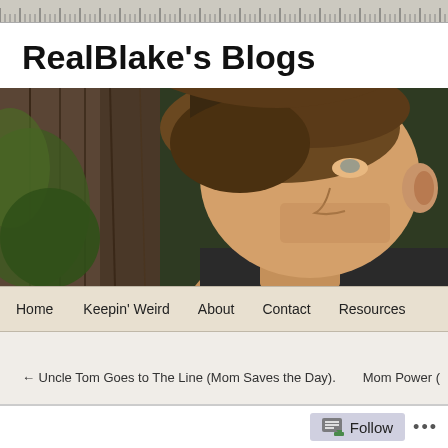ruler/toolbar
RealBlake's Blogs
[Figure (photo): Close-up portrait photo of a young man with short wavy brown hair, looking to the side, with green foliage and a wooden fence in the background.]
Home
Keepin' Weird
About
Contact
Resources
← Uncle Tom Goes to The Line (Mom Saves the Day).
Mom Power (
Follow ...